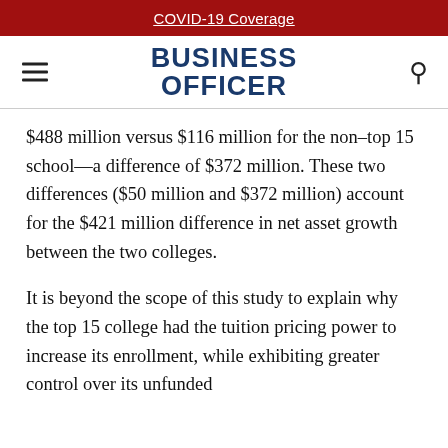COVID-19 Coverage
[Figure (logo): Business Officer magazine logo with hamburger menu icon on left and search icon on right]
$488 million versus $116 million for the non–top 15 school—a difference of $372 million. These two differences ($50 million and $372 million) account for the $421 million difference in net asset growth between the two colleges.
It is beyond the scope of this study to explain why the top 15 college had the tuition pricing power to increase its enrollment, while exhibiting greater control over its unfunded